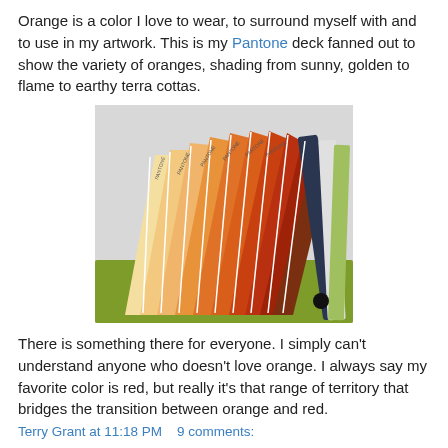Orange is a color I love to wear, to surround myself with and to use in my artwork. This is my Pantone deck fanned out to show the variety of oranges, shading from sunny, golden to flame to earthy terra cottas.
[Figure (photo): A Pantone formula guide coated/uncoated color deck fanned out showing a range of orange, red, and earth-tone color swatches, with the green cover visible at the bottom showing text 'formula guide coated/uncoated' upside down.]
There is something there for everyone. I simply can't understand anyone who doesn't love orange. I always say my favorite color is red, but really it's that range of territory that bridges the transition between orange and red.
Terry Grant at 11:18 PM   9 comments: